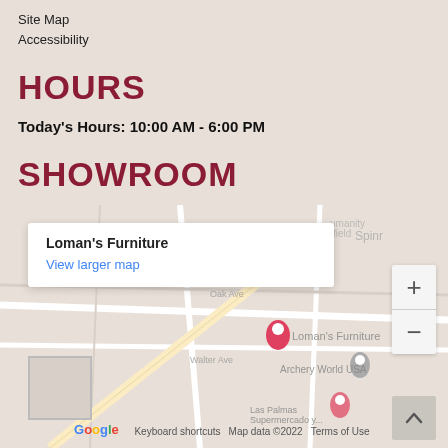Site Map
Accessibility
HOURS
Today's Hours: 10:00 AM - 6:00 PM
SHOWROOM
[Figure (map): Google Map showing Loman's Furniture location with a popup label 'Loman's Furniture' and a 'View larger map' link. Map includes nearby landmarks such as Archery World USA, Las Palmas Supermercado, and a Google logo with map data copyright 2022.]